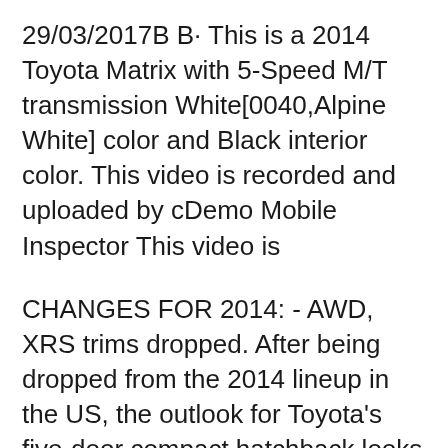29/03/2017B B· This is a 2014 Toyota Matrix with 5-Speed M/T transmission White[0040,Alpine White] color and Black interior color. This video is recorded and uploaded by cDemo Mobile Inspector This video is
CHANGES FOR 2014: - AWD, XRS trims dropped. After being dropped from the 2014 lineup in the US, the outlook for Toyota's five-door compact hatchback looks beige at best. AWD and the hot-ish XRS models have been dropped, leaving the lowly base Matrix to fight the good fight. Find the best Toyota Matrix for sale near you. Every used car for sale comes with a free CARFAX Report. We have 237 Toyota Matrix